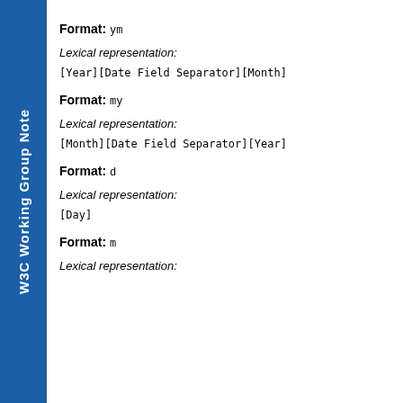W3C Working Group Note
Format: ym
Lexical representation:
[Year][Date Field Separator][Month]
Format: my
Lexical representation:
[Month][Date Field Separator][Year]
Format: d
Lexical representation:
[Day]
Format: m
Lexical representation: